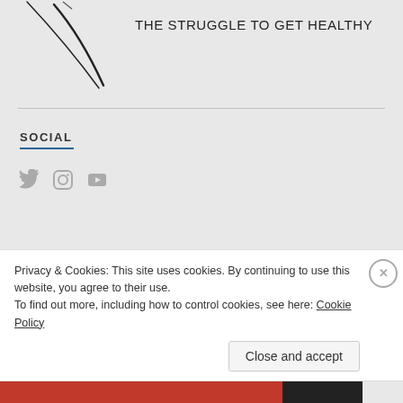[Figure (illustration): Decorative curved black brush-stroke lines in the top-left corner of the page]
THE STRUGGLE TO GET HEALTHY
SOCIAL
[Figure (illustration): Social media icons: Twitter bird, Instagram camera, YouTube play button — rendered in gray]
Privacy & Cookies: This site uses cookies. By continuing to use this website, you agree to their use.
To find out more, including how to control cookies, see here: Cookie Policy
Close and accept